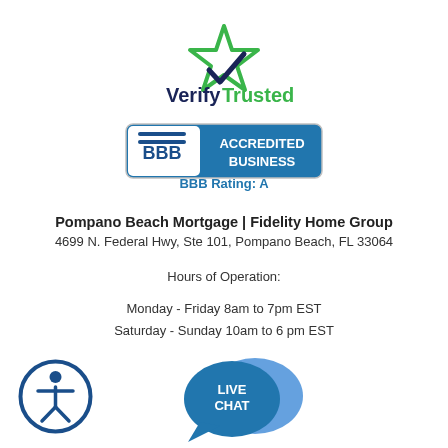[Figure (logo): VerifyTrusted logo with a green star and dark blue checkmark, text 'Verify' in dark navy bold and 'Trusted' in green bold]
[Figure (logo): BBB Accredited Business badge with blue background and text 'ACCREDITED BUSINESS', with BBB logo on the left, and 'BBB Rating: A' below in blue text]
Pompano Beach Mortgage | Fidelity Home Group
4699 N. Federal Hwy, Ste 101, Pompano Beach, FL 33064
Hours of Operation:
Monday - Friday 8am to 7pm EST
Saturday - Sunday 10am to 6 pm EST
[Figure (illustration): Accessibility icon: a person figure inside a circle outline (wheelchair accessibility symbol)]
[Figure (illustration): Live Chat icon: two overlapping blue speech bubbles with text 'LIVE CHAT' in white]